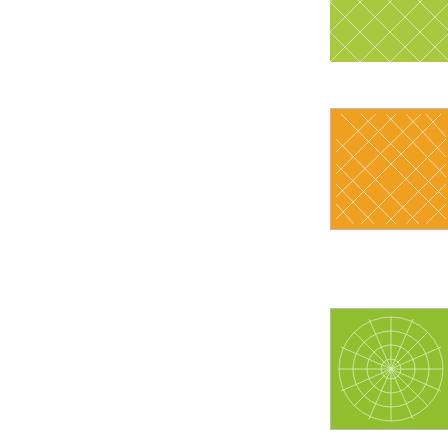[Figure (illustration): Green geometric pattern thumbnail (partially visible at top)]
POSTED BY:
[Figure (illustration): Orange geometric network pattern thumbnail]
Wow, you w
POSTED BY: T
[Figure (illustration): Green flower/starburst geometric pattern thumbnail]
Beautiful wo
POSTED BY:
[Figure (illustration): Blue geometric spiral/wave pattern thumbnail]
So very cute
POSTED BY:
[Figure (illustration): Purple/lavender starburst geometric pattern thumbnail]
The coloring
POSTED BY:
[Figure (illustration): Light blue geometric starburst pattern thumbnail]
Beautiful co
POSTED BY: